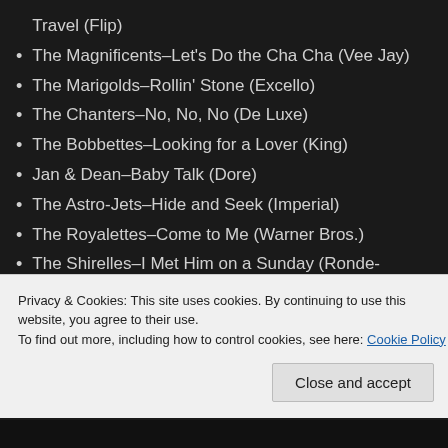Travel (Flip)
The Magnificents–Let's Do the Cha Cha (Vee Jay)
The Marigolds–Rollin' Stone (Excello)
The Chanters–No, No, No (De Luxe)
The Bobbettes–Looking for a Lover (King)
Jan & Dean–Baby Talk (Dore)
The Astro-Jets–Hide and Seek (Imperial)
The Royalettes–Come to Me (Warner Bros.)
The Shirelles–I Met Him on a Sunday (Ronde-Ronde) (Decca)
Privacy & Cookies: This site uses cookies. By continuing to use this website, you agree to their use. To find out more, including how to control cookies, see here: Cookie Policy
Close and accept